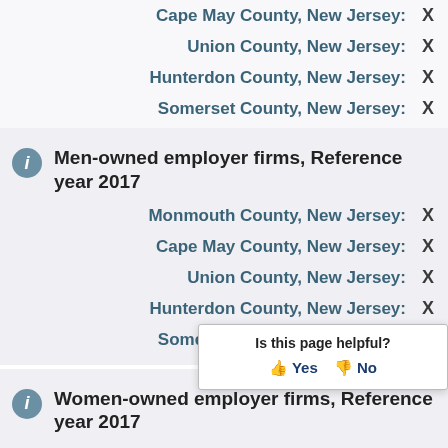Cape May County, New Jersey: X
Union County, New Jersey: X
Hunterdon County, New Jersey: X
Somerset County, New Jersey: X
Men-owned employer firms, Reference year 2017
Monmouth County, New Jersey: X
Cape May County, New Jersey: X
Union County, New Jersey: X
Hunterdon County, New Jersey: X
Somerset County, New Jersey: X
Women-owned employer firms, Reference year 2017
Monmouth County, New Jersey: X
Cape May County, New Jersey: X
Union County, New Jersey: X